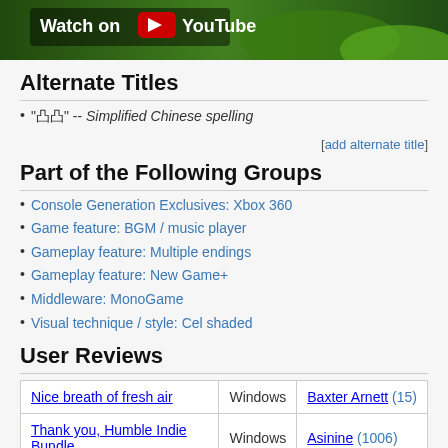[Figure (screenshot): YouTube video thumbnail with green game visuals and 'Watch on YouTube' button]
Alternate Titles
"凸凸" -- Simplified Chinese spelling
[add alternate title]
Part of the Following Groups
Console Generation Exclusives: Xbox 360
Game feature: BGM / music player
Gameplay feature: Multiple endings
Gameplay feature: New Game+
Middleware: MonoGame
Visual technique / style: Cel shaded
User Reviews
|  | Windows |  |
| --- | --- | --- |
| Nice breath of fresh air | Windows | Baxter Arnett (15) |
| Thank you, Humble Indie Bundle. | Windows | Asinine (1006) |